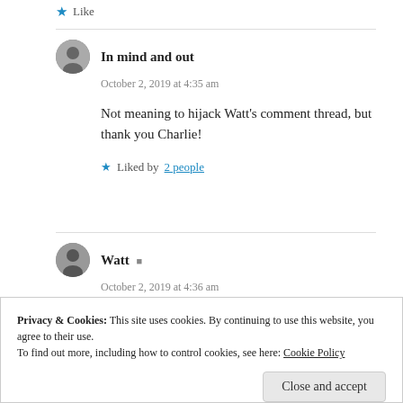Like
In mind and out
October 2, 2019 at 4:35 am
Not meaning to hijack Watt's comment thread, but thank you Charlie!
Liked by 2 people
Watt
October 2, 2019 at 4:36 am
Privacy & Cookies: This site uses cookies. By continuing to use this website, you agree to their use. To find out more, including how to control cookies, see here: Cookie Policy
Close and accept